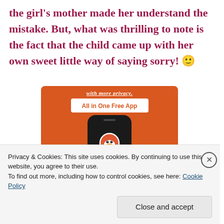footsteps of their parents. It was nice to see the girl's mother made her understand the mistake. But, what was thrilling to note is the fact that the child came up with her own sweet little way of saying sorry! 🙂
[Figure (screenshot): DuckDuckGo advertisement showing 'with more privacy. All in One Free App' text on an orange background with a phone displaying the DuckDuckGo duck logo]
Privacy & Cookies: This site uses cookies. By continuing to use this website, you agree to their use.
To find out more, including how to control cookies, see here: Cookie Policy
Close and accept